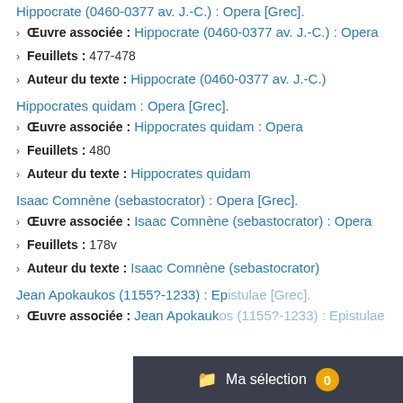Hippocrate (0460-0377 av. J.-C.) : Opera [Grec].
Œuvre associée : Hippocrate (0460-0377 av. J.-C.) : Opera
Feuillets : 477-478
Auteur du texte : Hippocrate (0460-0377 av. J.-C.)
Hippocrates quidam : Opera [Grec].
Œuvre associée : Hippocrates quidam : Opera
Feuillets : 480
Auteur du texte : Hippocrates quidam
Isaac Comnène (sebastocrator) : Opera [Grec].
Œuvre associée : Isaac Comnène (sebastocrator) : Opera
Feuillets : 178v
Auteur du texte : Isaac Comnène (sebastocrator)
Jean Apokaukos (1155?-1233) : Epistulae [Grec].
Œuvre associée : Jean Apokaukos (1155?-1233) : Epistulae